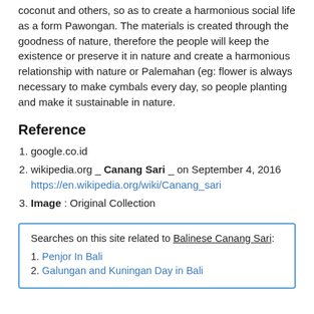coconut and others, so as to create a harmonious social life as a form Pawongan. The materials is created through the goodness of nature, therefore the people will keep the existence or preserve it in nature and create a harmonious relationship with nature or Palemahan (eg: flower is always necessary to make cymbals every day, so people planting and make it sustainable in nature.
Reference
google.co.id
wikipedia.org _ Canang Sari _ on September 4, 2016 https://en.wikipedia.org/wiki/Canang_sari
Image : Original Collection
Searches on this site related to Balinese Canang Sari:
Penjor In Bali
Galungan and Kuningan Day in Bali